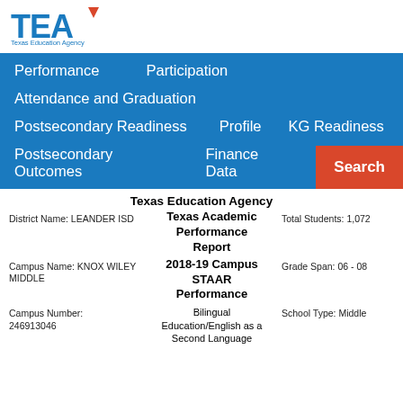[Figure (logo): TEA Texas Education Agency logo with blue TEA text and orange arrow graphic]
Performance    Participation
Attendance and Graduation
Postsecondary Readiness    Profile    KG Readiness
Postsecondary Outcomes    Finance Data    Search
Texas Education Agency
Texas Academic Performance Report
2018-19 Campus STAAR Performance
District Name: LEANDER ISD
Total Students: 1,072
Campus Name: KNOX WILEY MIDDLE
Grade Span: 06 - 08
Campus Number: 246913046
Bilingual Education/English as a Second Language
School Type: Middle